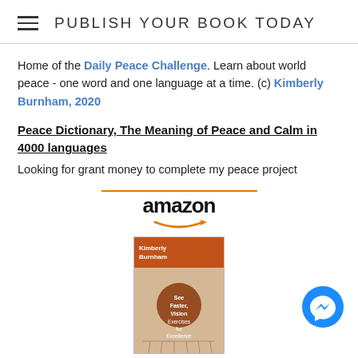PUBLISH YOUR BOOK TODAY
Home of the Daily Peace Challenge. Learn about world peace - one word and one language at a time. (c) Kimberly Burnham, 2020
Peace Dictionary, The Meaning of Peace and Calm in 4000 languages
Looking for grant money to complete my peace project
[Figure (other): Amazon logo with orange bar above and swoosh arrow below, followed by a book cover image for a vision-related book by Kimberly Burnham]
See Faster, Vision